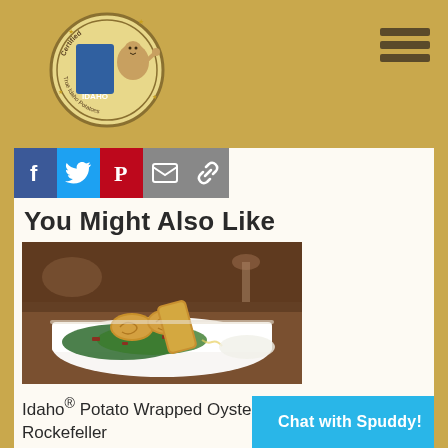Certified Idaho Potatoes logo and hamburger menu
[Figure (logo): Certified Idaho Potatoes circular logo with mascot character giving thumbs up]
[Figure (infographic): Social sharing icons: Facebook (blue), Twitter (blue), Pinterest (red), Email (gray), Link (gray)]
You Might Also Like
[Figure (photo): Idaho Potato Wrapped Oyster Rockefeller dish on a white plate with spinach and bacon, food photography]
Idaho® Potato Wrapped Oyster Rockefeller
Chat with Spuddy!